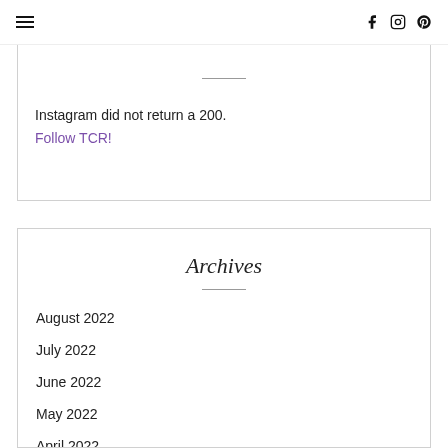≡   f  Instagram  Pinterest
Instagram did not return a 200.
Follow TCR!
Archives
August 2022
July 2022
June 2022
May 2022
April 2022